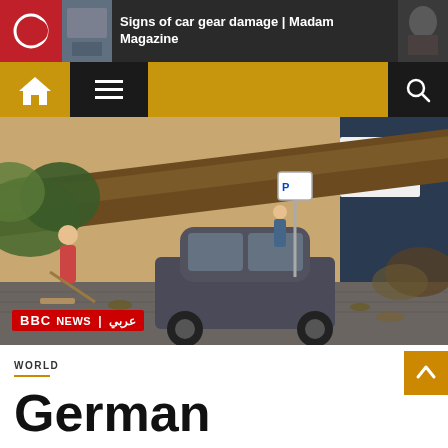Signs of car gear damage | Madam Magazine
[Figure (photo): A large fallen tree crushing a dark hatchback car on a street, with people nearby using a broom. A BBC News Arabic badge is visible in the bottom left corner.]
WORLD
German